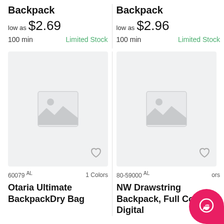Backpack
low as $2.69
100 min   Limited Stock
Backpack
low as $2.96
100 min   Limited Stock
[Figure (photo): Product image placeholder for left product]
[Figure (photo): Product image placeholder for right product]
60079 AL   1 Colors
Otaria Ultimate BackpackDry Bag
80-59000 AL   ors
NW Drawstring Backpack, Full Color Digital